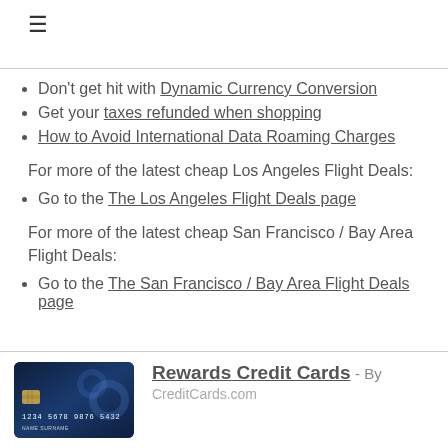☰
Don't get hit with Dynamic Currency Conversion
Get your taxes refunded when shopping
How to Avoid International Data Roaming Charges
For more of the latest cheap Los Angeles Flight Deals:
Go to the The Los Angeles Flight Deals page
For more of the latest cheap San Francisco / Bay Area Flight Deals:
Go to the The San Francisco / Bay Area Flight Deals page
[Figure (photo): Credit card image with dark blue background showing card number 1234 5678 9876 5432]
Rewards Credit Cards - By CreditCards.com